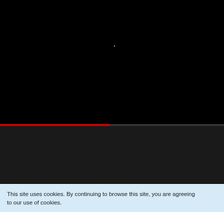[Figure (screenshot): Black video player screen, mostly dark with a tiny white dot near center]
[Figure (screenshot): Music player UI with avatar, channel name Sweet-Spice, playback controls, and @ Minazuki username. Red scroll buttons on right side.]
This site uses cookies. By continuing to browse this site, you are agreeing to our use of cookies.
[Figure (screenshot): Advertisement banner: Back To School Shopping Deals - Leesburg Premium Outlets, with infinity logo and navigation arrow icon]